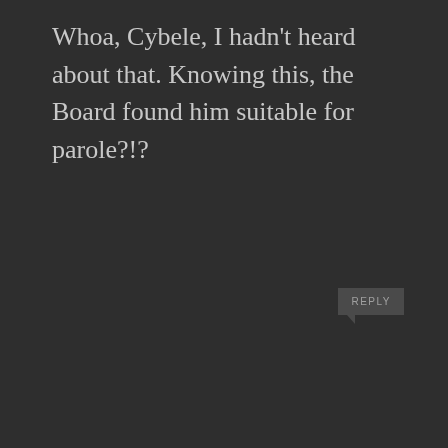Whoa, Cybele, I hadn't heard about that. Knowing this, the Board found him suitable for parole?!?
REPLY
PAM says:
January 4, 2019 at 11:59 pm
Donna, why should Tex be released? He butchered a fully developed baby in his mother's belly.